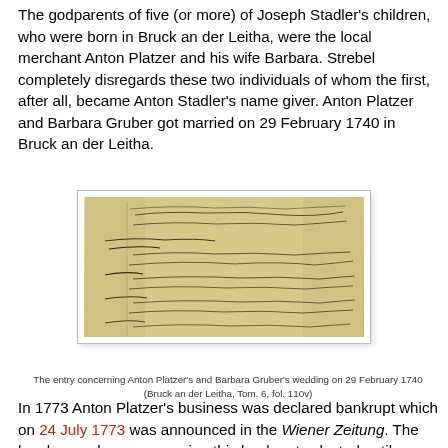The godparents of five (or more) of Joseph Stadler's children, who were born in Bruck an der Leitha, were the local merchant Anton Platzer and his wife Barbara. Strebel completely disregards these two individuals of whom the first, after all, became Anton Stadler's name giver. Anton Platzer and Barbara Gruber got married on 29 February 1740 in Bruck an der Leitha.
[Figure (photo): Historical handwritten manuscript entry showing the marriage record concerning Anton Platzer and Barbara Gruber's wedding on 29 February 1740 (Bruck an der Leitha, Tom. 6, fol. 110v)]
The entry concerning Anton Platzer's and Barbara Gruber's wedding on 29 February 1740
(Bruck an der Leitha, Tom. 6, fol. 110v)
In 1773 Anton Platzer's business was declared bankrupt which on 24 July 1773 was announced in the Wiener Zeitung. The legal procedures concerning this bankruptcy lasted until September 1774 (Wiener Zeitung, 7 September 1774). Anton Platzer died on 18 April 1783, at the age of